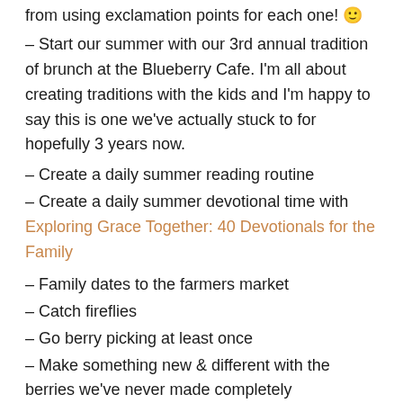from using exclamation points for each one! 🙂
– Start our summer with our 3rd annual tradition of brunch at the Blueberry Cafe. I'm all about creating traditions with the kids and I'm happy to say this is one we've actually stuck to for hopefully 3 years now.
– Create a daily summer reading routine
– Create a daily summer devotional time with Exploring Grace Together: 40 Devotionals for the Family
– Family dates to the farmers market
– Catch fireflies
– Go berry picking at least once
– Make something new & different with the berries we've never made completely homemade, like a pie!
– Set up a backyard campout with the kids